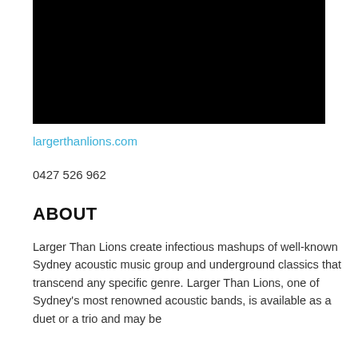[Figure (photo): Black rectangular image area, likely a video thumbnail or photo placeholder, dark/black content]
largerthanlions.com
0427 526 962
ABOUT
Larger Than Lions create infectious mashups of well-known Sydney acoustic music group and underground classics that transcend any specific genre. Larger Than Lions, one of Sydney's most renowned acoustic bands, is available as a duet or a trio and may be